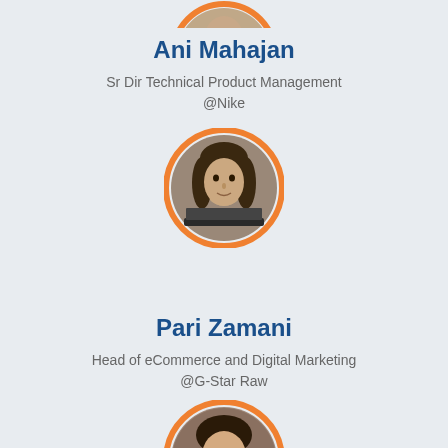[Figure (photo): Partial circular avatar photo of Ani Mahajan with orange border, cropped at top of page]
Ani Mahajan
Sr Dir Technical Product Management
@Nike
[Figure (photo): Circular avatar photo of Pari Zamani with orange border, woman working at laptop]
Pari Zamani
Head of eCommerce and Digital Marketing
@G-Star Raw
[Figure (photo): Circular avatar photo of a woman (name partially cut off) with orange border, smiling woman]
M... M...